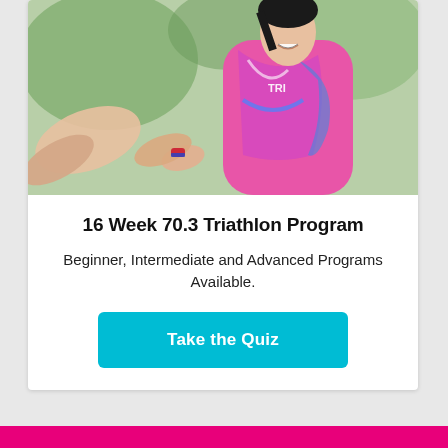[Figure (photo): A female triathlete in a pink and blue TRI racing kit smiling during a race, receiving a handshake or baton from another person, with trees in the background.]
16 Week 70.3 Triathlon Program
Beginner, Intermediate and Advanced Programs Available.
Take the Quiz